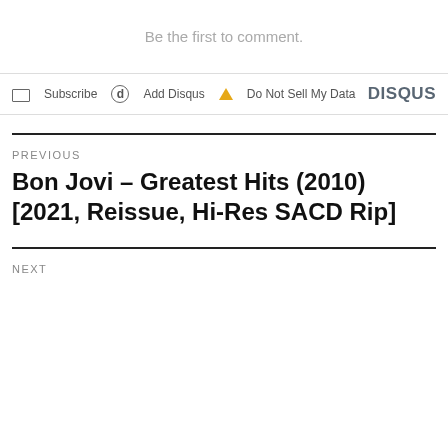Be the first to comment.
Subscribe  Add Disqus  Do Not Sell My Data  DISQUS
PREVIOUS
Bon Jovi – Greatest Hits (2010) [2021, Reissue, Hi-Res SACD Rip]
NEXT